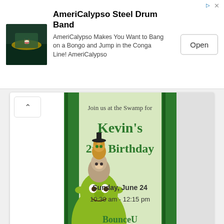[Figure (other): AmeriCalypso Steel Drum Band advertisement banner with app icon image, title text, description, and Open button]
[Figure (photo): Shrek birthday party invitation showing Shrek, Donkey, and Puss in Boots characters with text: Join us at the Swamp for Kevin's 2nd Birthday, Sunday, June 24, 10:30 am - 12:15 pm, BounceU]
Shrek Birthday Invitations
Birthday Invitations · 696 Views
[Figure (photo): Black t-shirt with white graphic design showing: LEGEND 1986, ONE OF A KIND, TRUE LEGEND, Well Aged, 100% GENUINE]